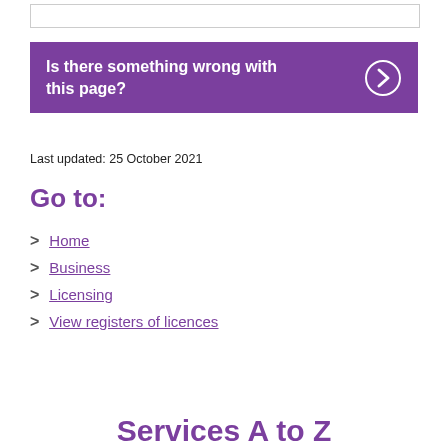[Figure (other): Empty input box or search field at the top of the page]
Is there something wrong with this page?
Last updated: 25 October 2021
Go to:
Home
Business
Licensing
View registers of licences
Services A to Z